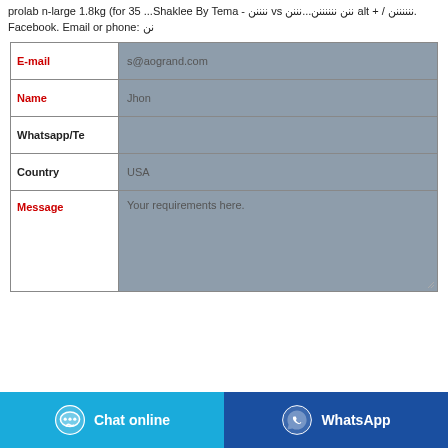prolab n-large 1.8kg (for 35 ...Shaklee By Tema - ننننن vs ننن ننننننن...نننن alt + / ننننننن. Facebook. Email or phone: نن
| Field | Value |
| --- | --- |
| E-mail | s@aogrand.com |
| Name | Jhon |
| Whatsapp/Te |  |
| Country | USA |
| Message | Your requirements here. |
Chat online
WhatsApp